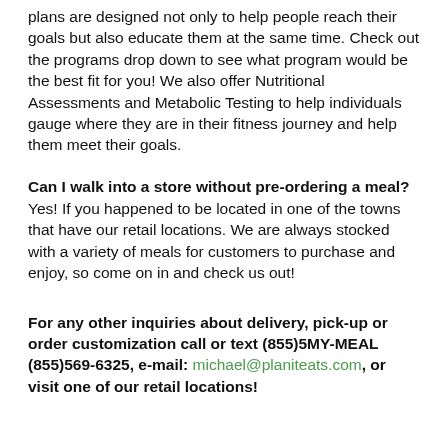plans are designed not only to help people reach their goals but also educate them at the same time. Check out the programs drop down to see what program would be the best fit for you! We also offer Nutritional Assessments and Metabolic Testing to help individuals gauge where they are in their fitness journey and help them meet their goals.
Can I walk into a store without pre-ordering a meal?
Yes! If you happened to be located in one of the towns that have our retail locations. We are always stocked with a variety of meals for customers to purchase and enjoy, so come on in and check us out!
For any other inquiries about delivery, pick-up or order customization call or text (855)5MY-MEAL (855)569-6325, e-mail: michael@planiteats.com, or visit one of our retail locations!